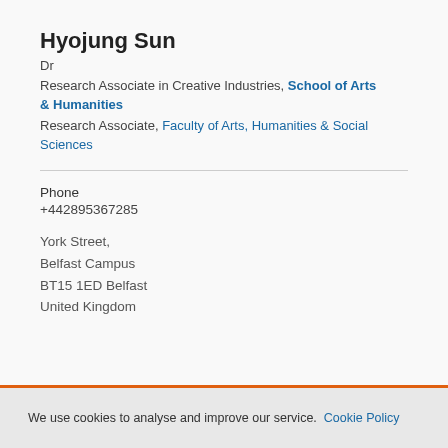Hyojung Sun
Dr
Research Associate in Creative Industries, School of Arts & Humanities
Research Associate, Faculty of Arts, Humanities & Social Sciences
Phone
+442895367285
York Street,
Belfast Campus
BT15 1ED Belfast
United Kingdom
We use cookies to analyse and improve our service. Cookie Policy